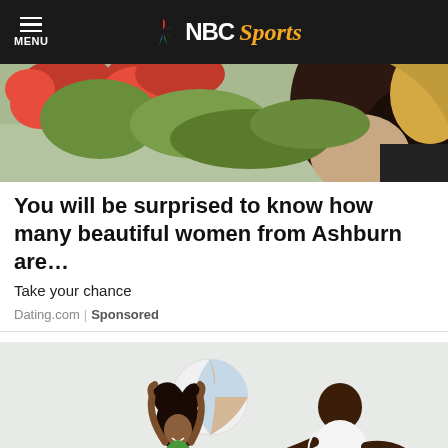MENU | NBC Sports
[Figure (photo): Partial photo at top showing flowers and a woman's hair/back]
You will be surprised to know how many beautiful women from Ashburn are…
Take your chance
Dating.com | Sponsored
[Figure (photo): A man and young girl playing with a beach ball on a beach; both wearing green; girl in swimsuit, man in tank top and shorts]